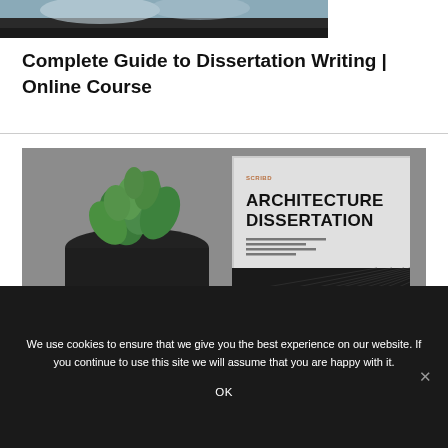[Figure (photo): Partial top image showing a dark background with what appears to be a person wearing headphones]
Complete Guide to Dissertation Writing | Online Course
[Figure (photo): Photo of a green plant in a dark pot next to a book/document titled 'Architecture Dissertation' on a grey surface]
We use cookies to ensure that we give you the best experience on our website. If you continue to use this site we will assume that you are happy with it.
OK